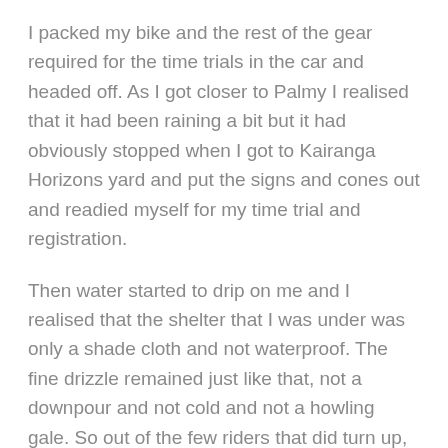I packed my bike and the rest of the gear required for the time trials in the car and headed off. As I got closer to Palmy I realised that it had been raining a bit but it had obviously stopped when I got to Kairanga Horizons yard and put the signs and cones out and readied myself for my time trial and registration.
Then water started to drip on me and I realised that the shelter that I was under was only a shade cloth and not waterproof. The fine drizzle remained just like that, not a downpour and not cold and not a howling gale. So out of the few riders that did turn up, there were a number of people who were able to better their previous best time including Jaimee Leader, Lynne James, Carne Groube and Andy Martin.
Thanks to the helpers Mike, Kirsty, Jo, Michael and Graeme on the turn who stood in the rain under